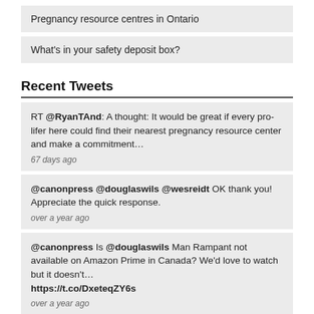Pregnancy resource centres in Ontario
What's in your safety deposit box?
Recent Tweets
RT @RyanTAnd: A thought: It would be great if every pro-lifer here could find their nearest pregnancy resource center and make a commitment…
67 days ago
@canonpress @douglaswils @wesreidt OK thank you! Appreciate the quick response.
over a year ago
@canonpress Is @douglaswils Man Rampant not available on Amazon Prime in Canada? We'd love to watch but it doesn't… https://t.co/DxeteqZY6s
over a year ago